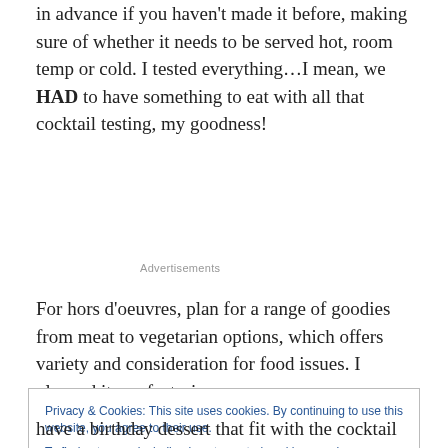in advance if you haven't made it before, making sure of whether it needs to be served hot, room temp or cold. I tested everything…I mean, we HAD to have something to eat with all that cocktail testing, my goodness!
Advertisements
For hors d'oeuvres, plan for a range of goodies from meat to vegetarian options, which offers variety and consideration for food issues. I planned items featuring
Privacy & Cookies: This site uses cookies. By continuing to use this website, you agree to their use.
To find out more, including how to control cookies, see here: Cookie Policy
Close and accept
have a birthday dessert that fit with the cocktail and small